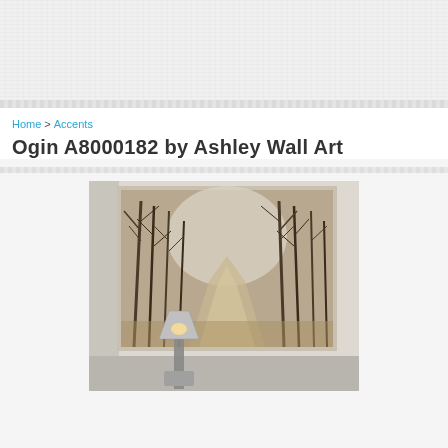[Figure (photo): Top decorative section with light gray textured background]
Home > Accents
Ogin A8000182 by Ashley Wall Art
[Figure (photo): Product photo showing a large framed canvas wall art depicting a forest path with bare winter trees in muted brown and gray tones, hung on a wall above a table with a lamp]